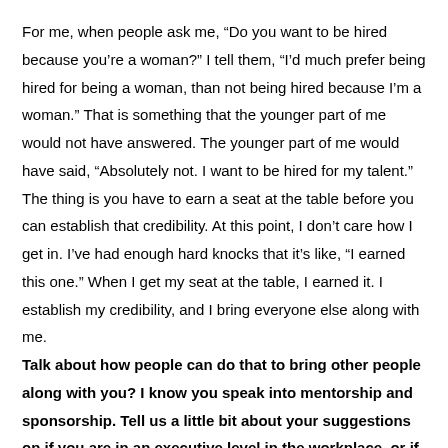For me, when people ask me, “Do you want to be hired because you’re a woman?” I tell them, “I’d much prefer being hired for being a woman, than not being hired because I’m a woman.” That is something that the younger part of me would not have answered. The younger part of me would have said, “Absolutely not. I want to be hired for my talent.” The thing is you have to earn a seat at the table before you can establish that credibility. At this point, I don’t care how I get in. I’ve had enough hard knocks that it’s like, “I earned this one.” When I get my seat at the table, I earned it. I establish my credibility, and I bring everyone else along with me.
Talk about how people can do that to bring other people along with you? I know you speak into mentorship and sponsorship. Tell us a little bit about your suggestions on if you are in an executive level in the workplace, or if you’re in a leadership role, how can you promote an invite and ensure people feel that they belong? Speak to the people who are being impacted by this.